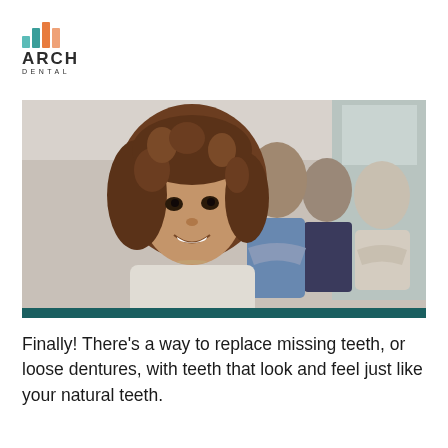[Figure (logo): Arch Dental logo with colorful bar chart icon above the text ARCH DENTAL]
[Figure (photo): Group of smiling people standing in a line, led by a young woman with curly hair in the foreground, set in a bright indoor space. A teal/dark green bar runs along the bottom of the image.]
Finally! There’s a way to replace missing teeth, or loose dentures, with teeth that look and feel just like your natural teeth.